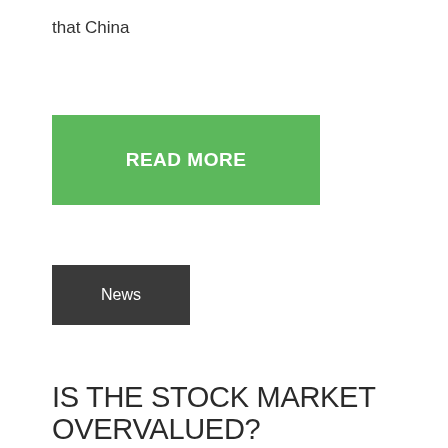that China
READ MORE
News
IS THE STOCK MARKET OVERVALUED?
Posted on | by One Percenter | Leave a comment